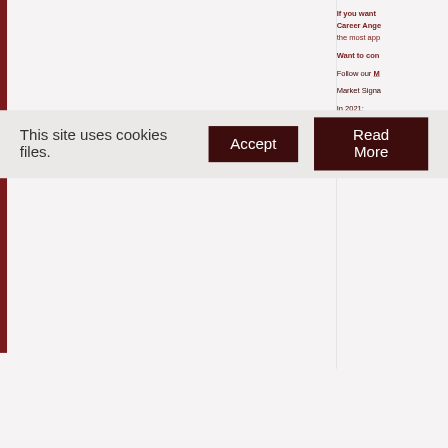If you want Career Ange the most app
Want to con
Follow our M
Market Signa
In 2021:
Week 1-23
In 2020:
Week 13-53
This site uses cookies files.  Accept  Read More